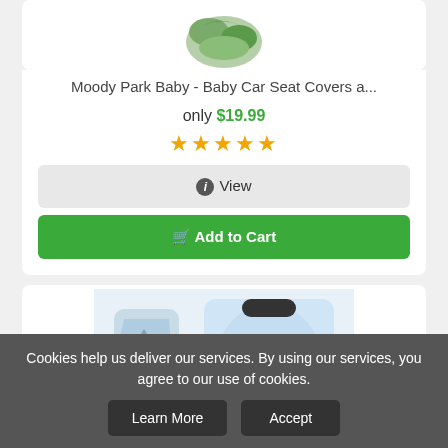[Figure (photo): Baby car seat cover product image with leaf/green pattern]
Moody Park Baby - Baby Car Seat Covers a...
only $19.99
[Figure (other): Five gold star rating]
ℹ View
🛒 Add to Cart
[Figure (photo): Baby car seat cover product showing multiple uses - nursing cover, car seat canopy, stroller cover with mountain/adventure pattern]
Cookies help us deliver our services. By using our services, you agree to our use of cookies.
Learn More
Accept